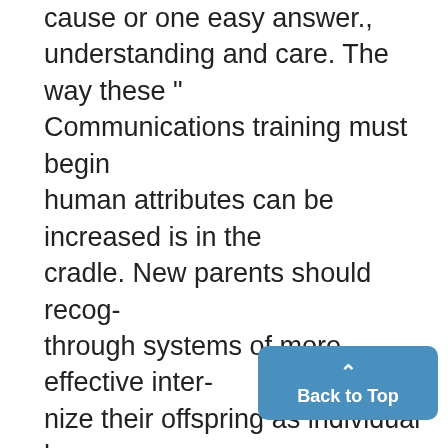cause or one easy answer., understanding and care. The way these " Communications training must begin human attributes can be increased is in the cradle. New parents should recog- through systems of more-effective inter- nize their offspring as individual human personal communication. beings whose thoughts, even though hazy Some may argue that the communica- and primitive, should be understood-and tions mechanisms now possess listened to. are more effective now than they have "